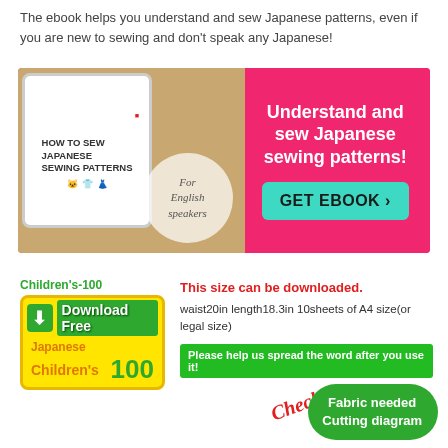The ebook helps you understand and sew Japanese patterns, even if you are new to sewing and don't speak any Japanese!
[Figure (infographic): Promotional banner for 'How to Sew Japanese Sewing Patterns' ebook, pink background with tablet image on left showing book cover, circle overlay saying 'For English speakers', and right side with white text 'Understand and sew Japanese sewing patterns!' and a teal GET EBOOK button]
Children's-100
[Figure (infographic): Yellow Download Free box with green arrow icon, text 'Download Free Japanese Children's 100']
This size can be downloaded.
waist20in length18.3in 10sheets of A4 size(or legal size)
Please help us spread the word after you use it!
Check! Fabric needed Cutting diagram